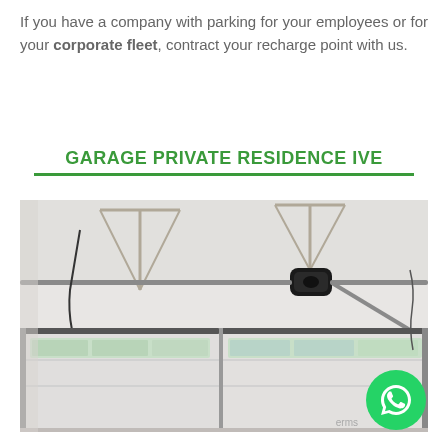If you have a company with parking for your employees or for your corporate fleet, contract your recharge point with us.
GARAGE PRIVATE RESIDENCE IVE
[Figure (photo): Interior of a white garage showing ceiling-mounted automatic garage door opener rails, door tracks, and windows along the garage doors below.]